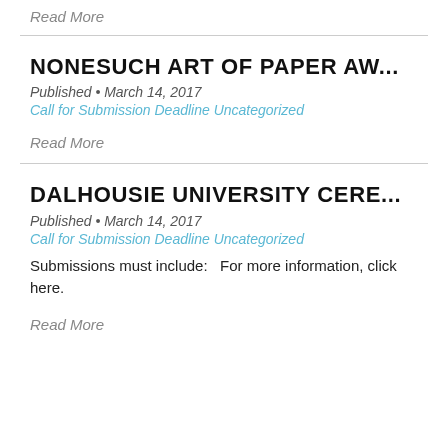Read More
NONESUCH ART OF PAPER AW...
Published • March 14, 2017
Call for Submission Deadline Uncategorized
Read More
DALHOUSIE UNIVERSITY CERE...
Published • March 14, 2017
Call for Submission Deadline Uncategorized
Submissions must include:   For more information, click here.
Read More